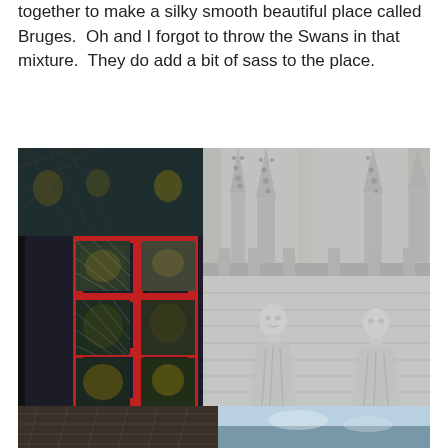together to make a silky smooth beautiful place called Bruges.  Oh and I forgot to throw the Swans in that mixture.  They do add a bit of sass to the place.
[Figure (photo): A composite photograph: left half shows ornate stained glass windows with red frames and diamond lattice patterns in a dark setting; right half shows Gothic stone architecture with pinnacles/spires and stone statues of figures carved into the facade of what appears to be a cathedral or historic building in Bruges.]
[Figure (photo): Partial view of another photograph at the bottom of the page, partially cut off, appearing to show more architectural or scenic imagery from Bruges.]